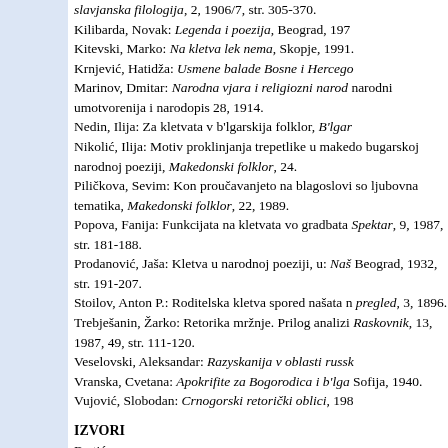slavjanska filologija, 2, 1906/7, str. 305-370.
Kilibarda, Novak: Legenda i poezija, Beograd, 197…
Kitevski, Marko: Na kletva lek nema, Skopje, 1991.
Krnjević, Hatidža: Usmene balade Bosne i Hercego…
Marinov, Dmitar: Narodna vjara i religiozni narod… narodni umotvorenija i narodopis 28, 1914.
Nedin, Ilija: Za kletvata v b'lgarskija folklor, B'lgar…
Nikolić, Ilija: Motiv proklinjanja trepetlike u maked… bugarskoj narodnoj poeziji, Makedonski folklor, 24.
Piličkova, Sevim: Kon proučavanjeto na blagoslovi… so ljubovna tematika, Makedonski folklor, 22, 1989.
Popova, Fanija: Funkcijata na kletvata vo gradbata… Spektar, 9, 1987, str. 181-188.
Prodanović, Jaša: Kletva u narodnoj poeziji, u: Naš… Beograd, 1932, str. 191-207.
Stoilov, Anton P.: Roditelska kletva spored našata n… pregled, 3, 1896.
Trebješanin, Žarko: Retorika mržnje. Prilog analizi… Raskovnik, 13, 1987, 49, str. 111-120.
Veselovski, Aleksandar: Razyskanija v oblasti russk…
Vranska, Cvetana: Apokrifite za Bogorodica i b'lga… Sofija, 1940.
Vujović, Slobodan: Crnogorski retorički oblici, 198…
IZVORI
Brstić…